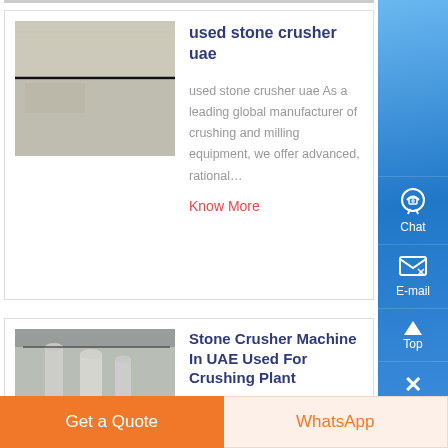[Figure (photo): Photo of stone/concrete surface, used stone crusher UAE product image]
used stone crusher uae
used stone crusher uae As a leading global manufacturer of crushing and milling equipment, we offer advanced, rational…
Know More
[Figure (photo): Interior photo of industrial crushing plant with silos and machinery]
Stone Crusher Machine In UAE Used For Crushing Plant
Used Stone Crushing Equipment In Uae, process…